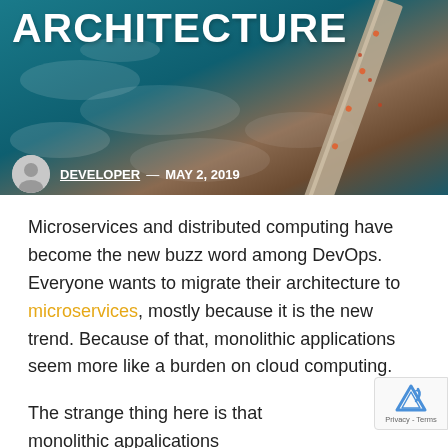[Figure (photo): Aerial view of a bridge over ocean waves with teal/blue water, used as hero image background]
ARCHITECTURE
DEVELOPER — MAY 2, 2019
Microservices and distributed computing have become the new buzz word among DevOps. Everyone wants to migrate their architecture to microservices, mostly because it is the new trend. Because of that, monolithic applications seem more like a burden on cloud computing.
The strange thing here is that monolithic appalications